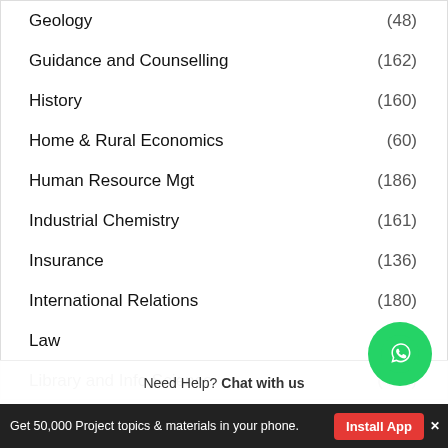Geology (48)
Guidance and Counselling (162)
History (160)
Home & Rural Economics (60)
Human Resource Mgt (186)
Industrial Chemistry (161)
Insurance (136)
International Relations (180)
Law (355)
Library and Info Science (462)
Linguistics
Msc Accountancy
Need Help? Chat with us
Get 50,000 Project topics & materials in your phone. Install App